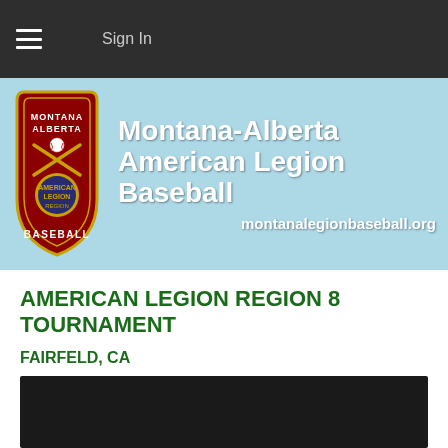≡  Sign In
[Figure (logo): Montana-Alberta American Legion Baseball banner with shield logo on left and text 'Montana-Alberta American Legion Baseball' and 'montanalegionbaseball.org' on right, light blue background]
AMERICAN LEGION REGION 8 TOURNAMENT
FAIRFELD, CA
[Figure (photo): Dark/black rectangular image area at bottom of page]